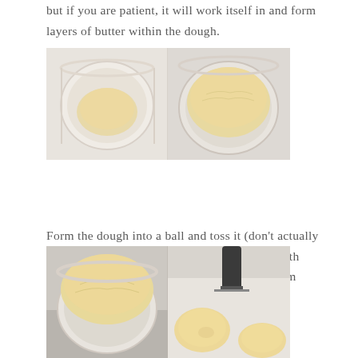but if you are patient, it will work itself in and form layers of butter within the dough.
[Figure (photo): Two side-by-side photos of dough in a white round bowl — left shows smaller dough ball, right shows risen larger dough ball filling the bowl, on a marble surface.]
Form the dough into a ball and toss it (don't actually toss) it into a greased bowl. Cover the bowl with some plastic wrap and place the bowl in a warm place to let rise.
[Figure (photo): Two side-by-side photos: left shows a white bowl full of risen dough on a granite surface, right shows dough portions on a baking sheet with a bench scraper.]